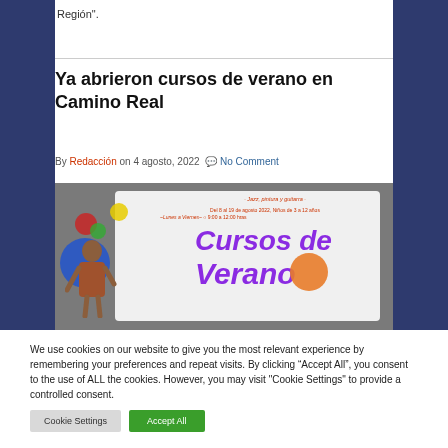Región".
Ya abrieron cursos de verano en Camino Real
By Redacción on 4 agosto, 2022  No Comment
[Figure (photo): Promotional flyer for summer courses (Cursos de Verano) at Camino Real, showing jazz, painting and guitar workshops from August 8-19, 2022 for children ages 3-12, Monday to Friday 9:00-12:00 hrs]
We use cookies on our website to give you the most relevant experience by remembering your preferences and repeat visits. By clicking "Accept All", you consent to the use of ALL the cookies. However, you may visit "Cookie Settings" to provide a controlled consent.